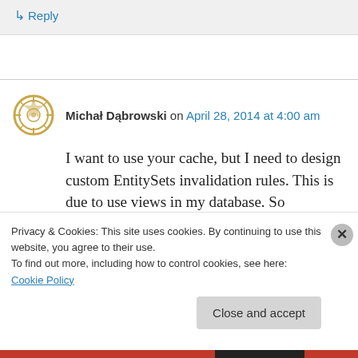↳ Reply
Michał Dąbrowski on April 28, 2014 at 4:00 am
I want to use your cache, but I need to design custom EntitySets invalidation rules. This is due to use views in my database. So modification
Privacy & Cookies: This site uses cookies. By continuing to use this website, you agree to their use.
To find out more, including how to control cookies, see here: Cookie Policy
Close and accept